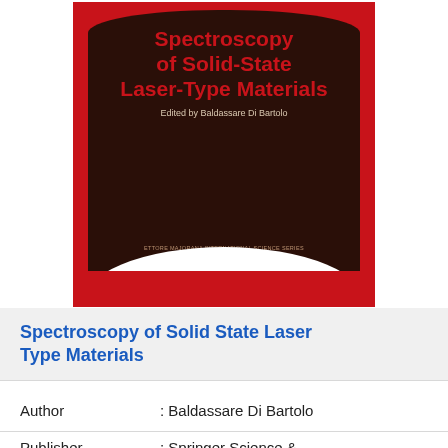[Figure (illustration): Book cover of 'Spectroscopy of Solid-State Laser-Type Materials' edited by Baldassare Di Bartolo. Red background with dark brown oval shape containing the title in red text and editor name in light text. Bottom shows series information: Ettore Majorana International Science Series, Physical Sciences.]
Spectroscopy of Solid State Laser Type Materials
Author : Baldassare Di Bartolo
Publisher : Springer Science & Business Media